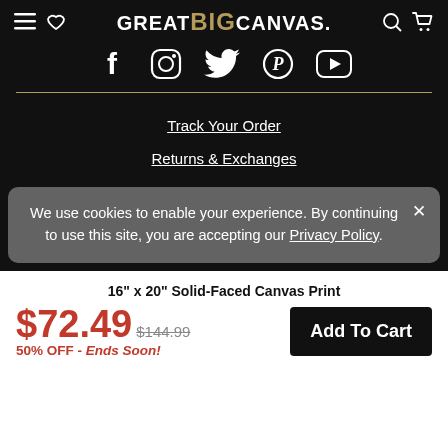GREAT BIG CANVAS
[Figure (illustration): Social media icons: Facebook, Instagram, Twitter, Pinterest, YouTube]
Track Your Order
Returns & Exchanges
We use cookies to enable your experience. By continuing to use this site, you are accepting our Privacy Policy.
16" x 20" Solid-Faced Canvas Print
$72.49  $144.99  50% OFF - Ends Soon!